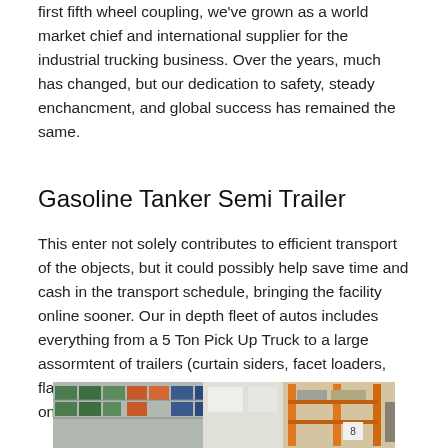first fifth wheel coupling, we've grown as a world market chief and international supplier for the industrial trucking business. Over the years, much has changed, but our dedication to safety, steady enchancment, and global success has remained the same.
Gasoline Tanker Semi Trailer
This enter not solely contributes to efficient transport of the objects, but it could possibly help save time and cash in the transport schedule, bringing the facility online sooner. Our in depth fleet of autos includes everything from a 5 Ton Pick Up Truck to a large assormtent of trailers (curtain siders, facet loaders, flatbeds, totally enclosed multi-car service, and so on).
[Figure (photo): Warehouse interior showing shelving with colorful boxes and industrial storage racks]